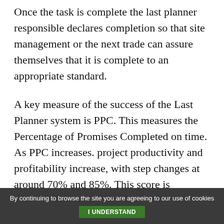Once the task is complete the last planner responsible declares completion so that site management or the next trade can assure themselves that it is complete to an appropriate standard.
A key measure of the success of the Last Planner system is PPC. This measures the Percentage of Promises Completed on time. As PPC increases. project productivity and profitability increase, with step changes at around 70% and 85%. This score is measured site-wide and displayed around the site. Weekly measures are used by the project and by individual suppliers as the basis for learning
By continuing to browse the site you are agreeing to our use of cookies   I UNDERSTAND